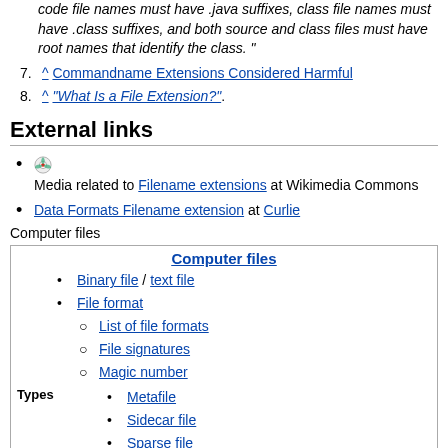code file names must have .java suffixes, class file names must have .class suffixes, and both source and class files must have root names that identify the class.”
7. ^ Commandname Extensions Considered Harmful
8. ^ "What Is a File Extension?".
External links
[commons icon] Media related to Filename extensions at Wikimedia Commons
Data Formats Filename extension at Curlie
Computer files
Computer files
Binary file / text file
File format
List of file formats
File signatures
Magic number
Metafile
Types
Sidecar file
Sparse file
Swap file